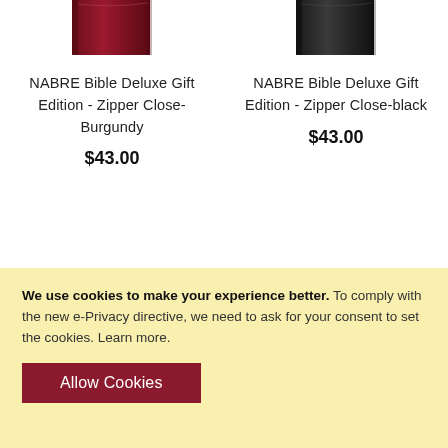[Figure (photo): Partial image of NABRE Bible Deluxe Gift Edition Zipper Close in Burgundy color, showing top portion of book]
NABRE Bible Deluxe Gift Edition - Zipper Close-Burgundy
$43.00
[Figure (photo): Partial image of NABRE Bible Deluxe Gift Edition Zipper Close in Black color, showing top portion of book]
NABRE Bible Deluxe Gift Edition - Zipper Close-black
$43.00
We use cookies to make your experience better. To comply with the new e-Privacy directive, we need to ask for your consent to set the cookies. Learn more.
Allow Cookies